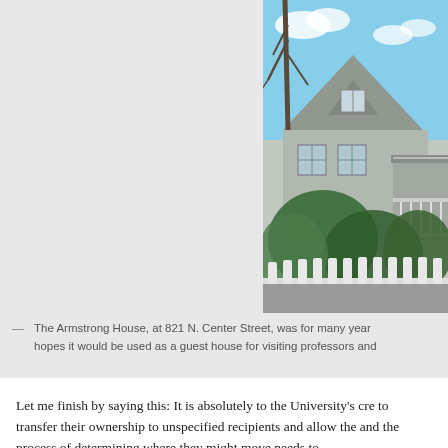[Figure (photo): Photograph of the Armstrong House at 821 N. Center Street — a Victorian-style home with a gabled roof, white picket fence in foreground, and large shrubs/trees surrounding the structure. Blue sky visible above.]
— The Armstrong House, at 821 N. Center Street, was for many years hopes it would be used as a guest house for visiting professors and
Let me finish by saying this: It is absolutely to the University's cre to transfer their ownership to unspecified recipients and allow the and the process of determining where they might move needs to